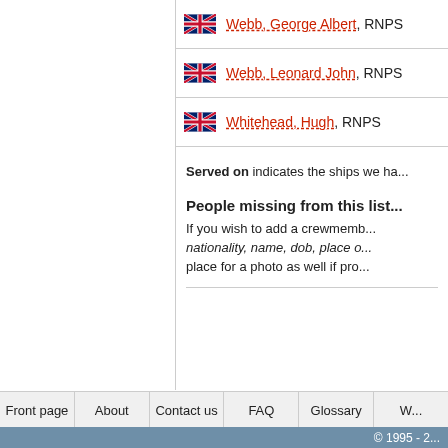Webb, George Albert, RNPS
Webb, Leonard John, RNPS
Whitehead, Hugh, RNPS
Served on indicates the ships we ha...
People missing from this list
If you wish to add a crewmemb... nationality, name, dob, place o... place for a photo as well if pro...
Front page | About | Contact us | FAQ | Glossary
© 1995 - 2...